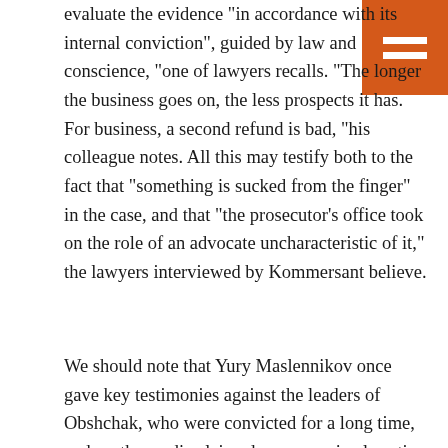evaluate the evidence "in accordance with its internal conviction", guided by law and conscience, "one of lawyers recalls. "The longer the business goes on, the less prospects it has. For business, a second refund is bad, "his colleague notes. All this may testify both to the fact that "something is sucked from the finger" in the case, and that "the prosecutor's office took on the role of an advocate uncharacteristic of it," the lawyers interviewed by Kommersant believe.
We should note that Yury Maslennikov once gave key testimonies against the leaders of Obshchak, who were convicted for a long time, and, as the media claimed, was seen in close ties with the authorities. That is why the investigation was entrusted to the SS, engaged only in